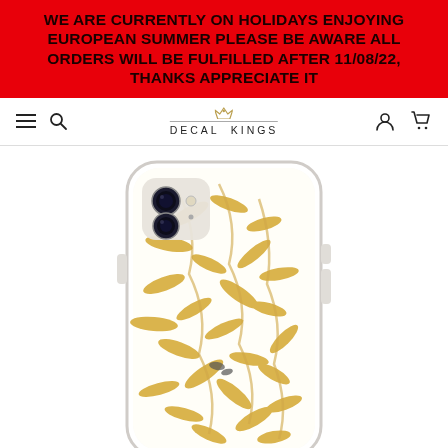WE ARE CURRENTLY ON HOLIDAYS ENJOYING EUROPEAN SUMMER PLEASE BE AWARE ALL ORDERS WILL BE FULFILLED AFTER 11/08/22, THANKS APPRECIATE IT
[Figure (screenshot): Website navigation bar with hamburger menu, search icon, Decal Kings logo with crown, user account icon, and cart icon]
[Figure (photo): iPhone case with gold glitter leaf/foliage botanical pattern on white background, showing dual camera cutout at top left]